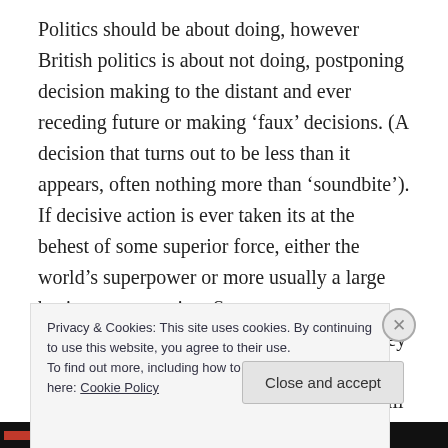Politics should be about doing, however British politics is about not doing, postponing decision making to the distant and ever receding future or making ‘faux’ decisions. (A decision that turns out to be less than it appears, often nothing more than ‘soundbite’). If decisive action is ever taken its at the behest of some superior force, either the world’s superpower or more usually a large business corporation. So eager are our politicians to embrace insignificance that they are negotiating the Transatlantic Trade and Investment Partnership. This a treaty that will give business corporations a major voice in policy making
Privacy & Cookies: This site uses cookies. By continuing to use this website, you agree to their use.
To find out more, including how to control cookies, see here: Cookie Policy
Close and accept